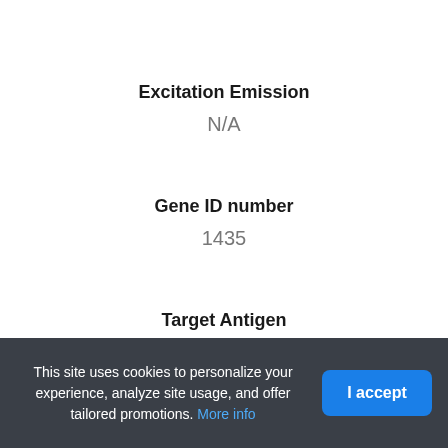Excitation Emission
N/A
Gene ID number
1435
Target Antigen
MCSF
This site uses cookies to personalize your experience, analyze site usage, and offer tailored promotions. More info
I accept